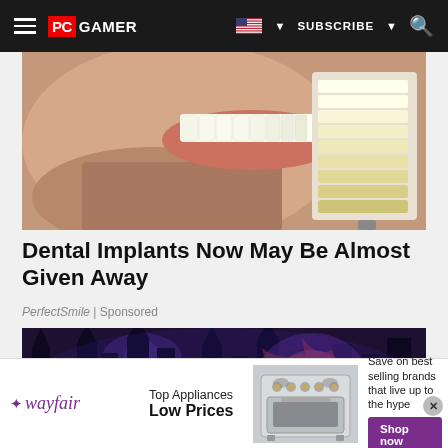PC GAMER — SUBSCRIBE
[Figure (photo): Close-up of a person's open mouth showing teeth with a dental shade guide being held up for comparison]
Dental Implants Now May Be Almost Given Away
PerfectSmile | Sponsored
[Figure (photo): Dark fantasy forest game scene with purple lighting, bare trees, and glowing orb]
[Figure (photo): Wayfair advertisement showing Top Appliances Low Prices with an oven/range image and Shop now button]